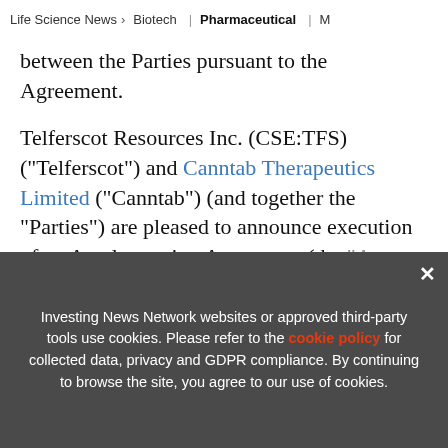Life Science News > Biotech | Pharmaceutical | M
between the Parties pursuant to the Agreement.
Telferscot Resources Inc. (CSE:TFS) (“Telferscot”) and Canntab Therapeutics Limited (“Canntab”) (and together the “Parties”) are pleased to announce execution of an Amalgamation Agreement (the “Agr… Agre… olly- …subsidiary of Telferscot and the Canntab…
[Figure (other): Advertisement banner for Cannabis Outlook 2022 report by INN. Shows 'Updated Aug 5, 2022', 'TOP CANNABIS Stocks, Trends, Forecasts', '2022 Cannabis Outlook Report', with Cannabis Outlook 2022 logo and INN branding.]
Investing News Network websites or approved third-party tools use cookies. Please refer to the cookie policy for collected data, privacy and GDPR compliance. By continuing to browse the site, you agree to our use of cookies.